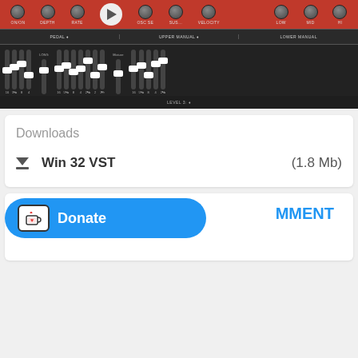[Figure (screenshot): Screenshot of a synthesizer VST plugin UI showing knobs, sliders, pedal/upper manual/lower manual sections on dark background with red accents and a play button overlay]
Downloads
Win 32 VST (1.8 Mb)
[Figure (screenshot): Comment section card with a blue 'Donate' button featuring a Ko-fi cup icon on the left and 'MMENT' text visible on the right]